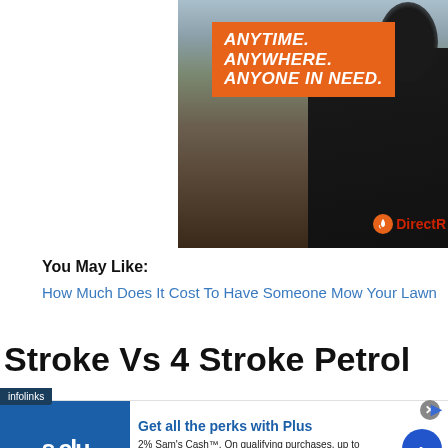[Figure (photo): Direct Relief charity advertisement banner. Orange box with bold italic white text: ANYTIME. ANYWHERE. ANYONE IN NEED. Background shows disaster rubble scene, person in black jacket with Direct Relief logo visible.]
You May Like:
How Much Does It Cost To Have Someone Mow Your Lawn
Stroke Vs 4 Stroke Petrol
[Figure (screenshot): Infolinks ad overlay at bottom. Sam's Club advertisement: Get all the perks with Plus. 2% Sam's Cash™. On qualifying purchases, up to $500/year. www.samsclub.com]